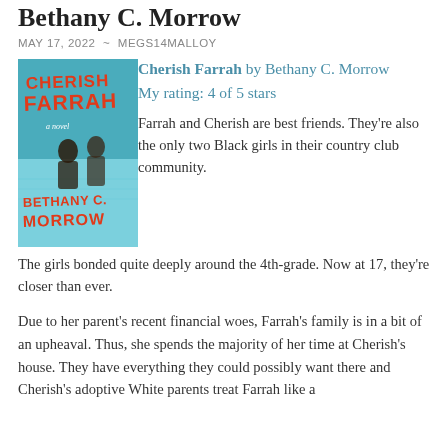Bethany C. Morrow
MAY 17, 2022  ~  MEGS14MALLOY
[Figure (illustration): Book cover of 'Cherish Farrah' by Bethany C. Morrow — red handwritten-style title text on a teal/blue background with illustrated figures]
Cherish Farrah by Bethany C. Morrow
My rating: 4 of 5 stars
Farrah and Cherish are best friends. They're also the only two Black girls in their country club community. The girls bonded quite deeply around the 4th-grade. Now at 17, they're closer than ever.
Due to her parent's recent financial woes, Farrah's family is in a bit of an upheaval. Thus, she spends the majority of her time at Cherish's house. They have everything they could possibly want there and Cherish's adoptive White parents treat Farrah like a